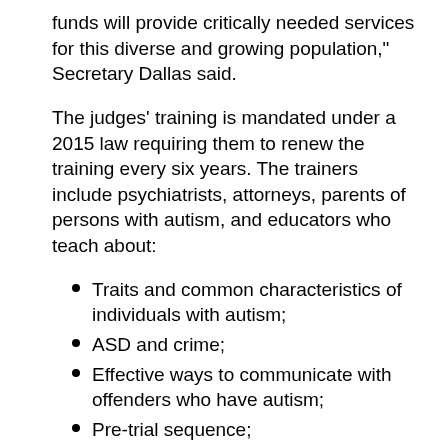funds will provide critically needed services for this diverse and growing population," Secretary Dallas said.
The judges' training is mandated under a 2015 law requiring them to renew the training every six years. The trainers include psychiatrists, attorneys, parents of persons with autism, and educators who teach about:
Traits and common characteristics of individuals with autism;
ASD and crime;
Effective ways to communicate with offenders who have autism;
Pre-trial sequence;
Attorney representation;